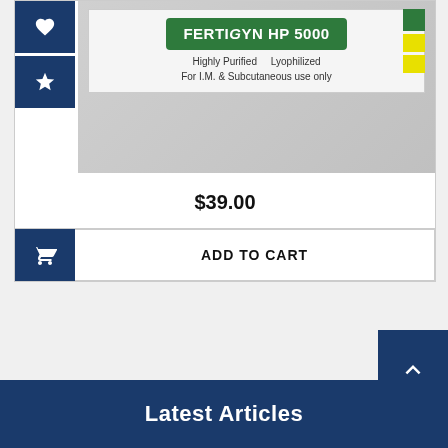[Figure (photo): Product image of FertiGyn HP 5000 medication box with green logo, showing 'Highly Purified Lyophilized For I.M. & Subcutaneous use only' with green and yellow corner squares]
$39.00
ADD TO CART
Latest Articles